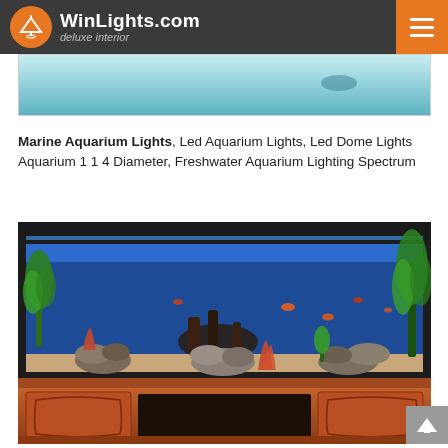WinLights.com deluxe interior
[Figure (photo): Partial top strip of an aquarium photo, showing blue-green water]
Marine Aquarium Lights, Led Aquarium Lights, Led Dome Lights Aquarium 1 1 4 Diameter, Freshwater Aquarium Lighting Spectrum
[Figure (photo): A large freshwater aquarium with blue LED lighting, green plants, rocks, driftwood, and fish, sitting on a wooden cabinet with arched door panels]